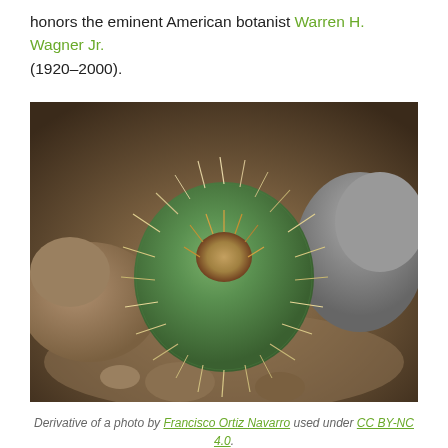honors the eminent American botanist Warren H. Wagner Jr. (1920–2000).
[Figure (photo): Close-up photograph of a spherical green cactus with many long white and tan spines, surrounded by rocks and rocky soil.]
Derivative of a photo by Francisco Ortiz Navarro used under CC BY-NC 4.0.